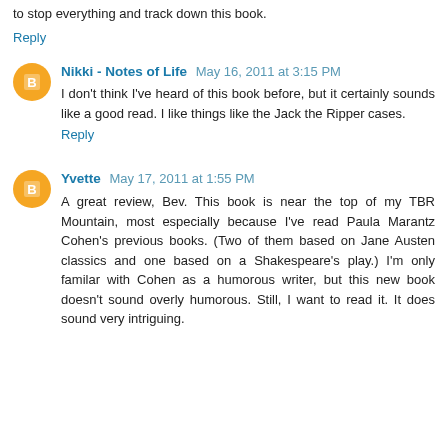to stop everything and track down this book.
Reply
Nikki - Notes of Life  May 16, 2011 at 3:15 PM
I don't think I've heard of this book before, but it certainly sounds like a good read. I like things like the Jack the Ripper cases.
Reply
Yvette  May 17, 2011 at 1:55 PM
A great review, Bev. This book is near the top of my TBR Mountain, most especially because I've read Paula Marantz Cohen's previous books. (Two of them based on Jane Austen classics and one based on a Shakespeare's play.) I'm only familar with Cohen as a humorous writer, but this new book doesn't sound overly humorous. Still, I want to read it. It does sound very intriguing.